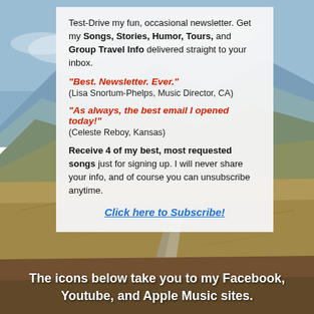[Figure (illustration): Background photo of a highland landscape with mountains, hills, moorland, and a winding path under a partly cloudy sky]
Test-Drive my fun, occasional newsletter. Get my Songs, Stories, Humor, Tours, and Group Travel Info delivered straight to your inbox.
"Best. Newsletter. Ever." (Lisa Snortum-Phelps, Music Director, CA)
"As always, the best email I opened today!" (Celeste Reboy, Kansas)
Receive 4 of my best, most requested songs just for signing up. I will never share your info, and of course you can unsubscribe anytime.
Click here to Subscribe!
The icons below take you to my Facebook, Youtube, and Apple Music sites.